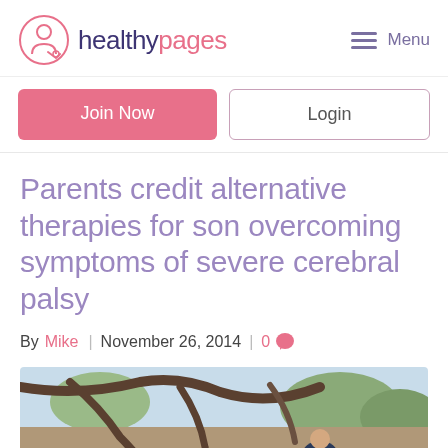healthy pages — Menu
Join Now
Login
Parents credit alternative therapies for son overcoming symptoms of severe cerebral palsy
By Mike | November 26, 2014 | 0
[Figure (photo): Outdoor photo of a child near tree branches with sky background]